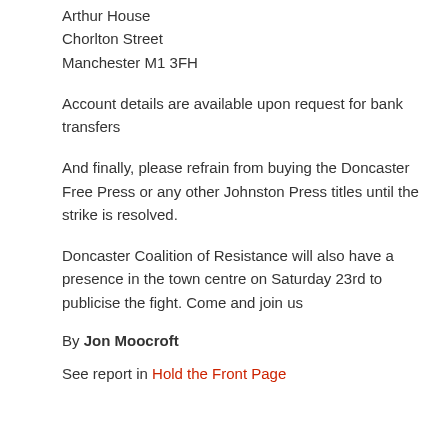Arthur House
Chorlton Street
Manchester M1 3FH
Account details are available upon request for bank transfers
And finally, please refrain from buying the Doncaster Free Press or any other Johnston Press titles until the strike is resolved.
Doncaster Coalition of Resistance will also have a presence in the town centre on Saturday 23rd to publicise the fight. Come and join us
By Jon Moocroft
See report in Hold the Front Page